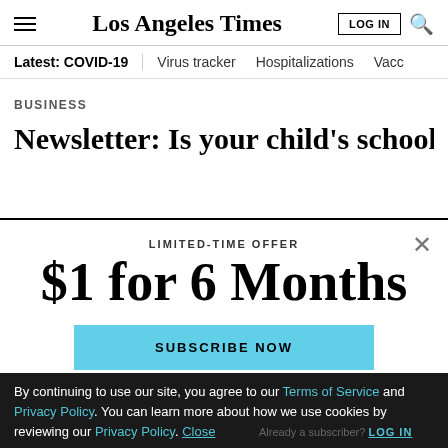Los Angeles Times — LOG IN — Search
Latest: COVID-19 | Virus tracker | Hospitalizations | Vacc...
BUSINESS
Newsletter: Is your child's school shut...
LIMITED-TIME OFFER
$1 for 6 Months
SUBSCRIBE NOW
By continuing to use our site, you agree to our Terms of Service and Privacy Policy. You can learn more about how we use cookies by reviewing our Privacy Policy. Close
Already a subscriber? LOG IN